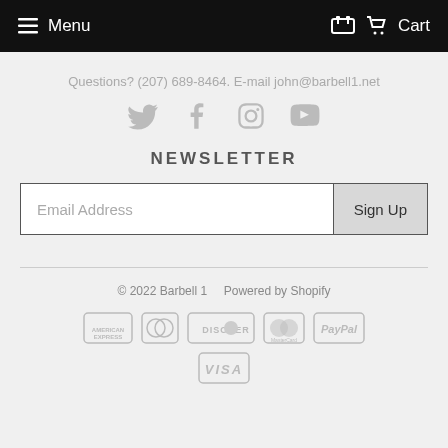Menu   Cart
Questions? (207) 689-8464. E-mail john@barbell1.net
[Figure (illustration): Social media icons: Twitter, Facebook, Instagram, YouTube]
NEWSLETTER
Email Address  Sign Up
© 2022 Barbell 1   Powered by Shopify
[Figure (illustration): Payment icons: American Express, Diners Club, Discover, MasterCard, PayPal, Visa]